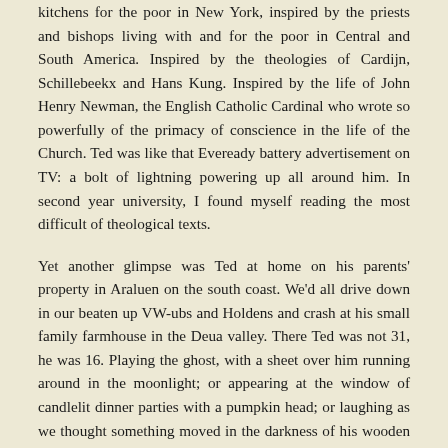kitchens for the poor in New York, inspired by the priests and bishops living with and for the poor in Central and South America. Inspired by the theologies of Cardijn, Schillebeekx and Hans Kung. Inspired by the life of John Henry Newman, the English Catholic Cardinal who wrote so powerfully of the primacy of conscience in the life of the Church. Ted was like that Eveready battery advertisement on TV: a bolt of lightning powering up all around him. In second year university, I found myself reading the most difficult of theological texts.
Yet another glimpse was Ted at home on his parents' property in Araluen on the south coast. We'd all drive down in our beaten up VW-ubs and Holdens and crash at his small family farmhouse in the Deua valley. There Ted was not 31, he was 16. Playing the ghost, with a sheet over him running around in the moonlight; or appearing at the window of candlelit dinner parties with a pumpkin head; or laughing as we thought something moved in the darkness of his wooden house. He loved the fact the hallway was so narrow his old aunt had to turn sideways to get through it. He loved his Irish background. He loved the Kennedy name. He loved the fact he had found the exact plot of land near Thurles where his family had come from in Tipperary.
He loved his Irish poets – Yeats especially – and the true Celtic